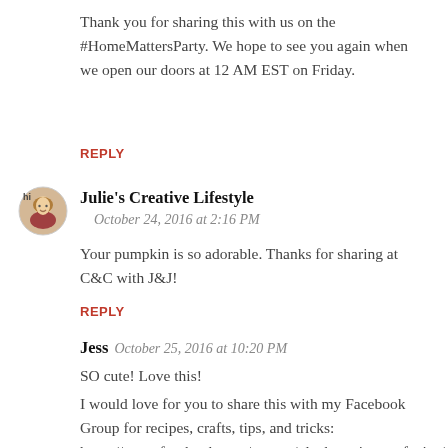Thank you for sharing this with us on the #HomeMattersParty. We hope to see you again when we open our doors at 12 AM EST on Friday.
REPLY
Julie's Creative Lifestyle
October 24, 2016 at 2:16 PM
Your pumpkin is so adorable. Thanks for sharing at C&C with J&J!
REPLY
Jess  October 25, 2016 at 10:20 PM
SO cute! Love this!
I would love for you to share this with my Facebook Group for recipes, crafts, tips, and tricks:
https://www.facebook.com/groups/pluckyrecipescraftstips/